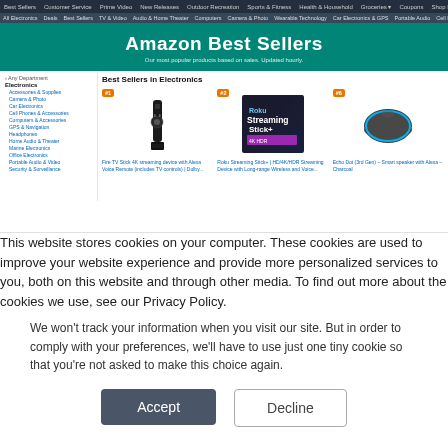[Figure (screenshot): Amazon Best Sellers in Electronics page screenshot showing navigation bar, teal banner with 'Amazon Best Sellers', left sidebar with electronics categories, and product grid with Fire TV Stick, Roku Streaming Stick+, and Echo Dot]
This website stores cookies on your computer. These cookies are used to improve your website experience and provide more personalized services to you, both on this website and through other media. To find out more about the cookies we use, see our Privacy Policy.
We won't track your information when you visit our site. But in order to comply with your preferences, we'll have to use just one tiny cookie so that you're not asked to make this choice again.
Accept
Decline